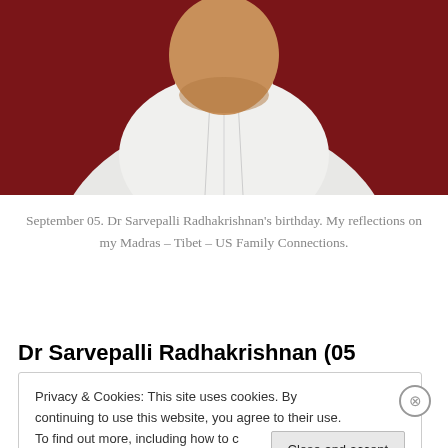[Figure (photo): Partial photo of Dr Sarvepalli Radhakrishnan, showing neck and collar area of a man in white Indian formal attire (sherwani or kurta) against a dark red/maroon background]
September 05. Dr Sarvepalli Radhakrishnan's birthday. My reflections on my Madras – Tibet – US Family Connections.
Dr Sarvepalli Radhakrishnan (05
Privacy & Cookies: This site uses cookies. By continuing to use this website, you agree to their use. To find out more, including how to control cookies, see here: Cookie Policy